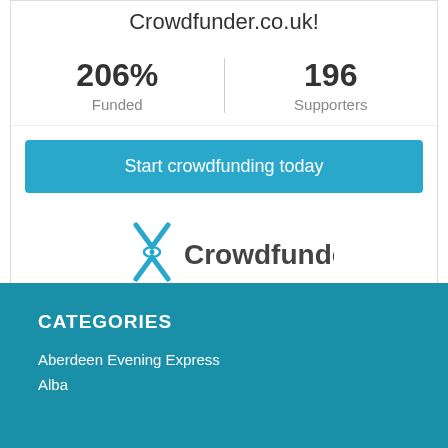Crowdfunder.co.uk!
206% Funded
196 Supporters
Start crowdfunding today
[Figure (logo): Crowdfunder logo with teal X-shaped figure icon and Crowdfunder wordmark in dark grey]
Learn how crowdfunding works
CATEGORIES
Aberdeen Evening Express
Alba